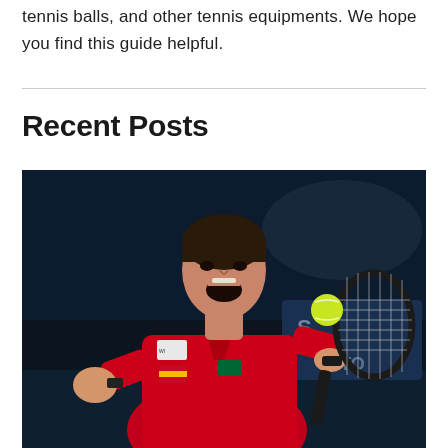tennis balls, and other tennis equipments. We hope you find this guide helpful.
Recent Posts
[Figure (photo): Tennis player in red Lacoste polo shirt celebrating, holding a tennis racket, with a tennis ball visible, shouting with fist pumped on a dark court background]